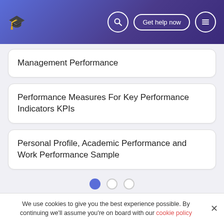Graduation cap logo | Search | Get help now | Menu
Management Performance
Performance Measures For Key Performance Indicators KPIs
Personal Profile, Academic Performance and Work Performance Sample
Pagination dots: active, inactive, inactive
We use cookies to give you the best experience possible. By continuing we'll assume you're on board with our cookie policy